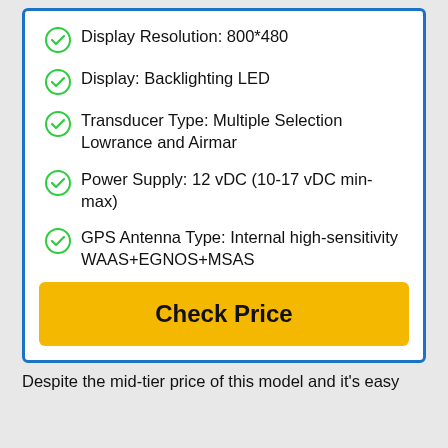Display Resolution: 800*480
Display: Backlighting LED
Transducer Type: Multiple Selection Lowrance and Airmar
Power Supply: 12 vDC (10-17 vDC min-max)
GPS Antenna Type: Internal high-sensitivity WAAS+EGNOS+MSAS
Check Price
Despite the mid-tier price of this model and it's easy